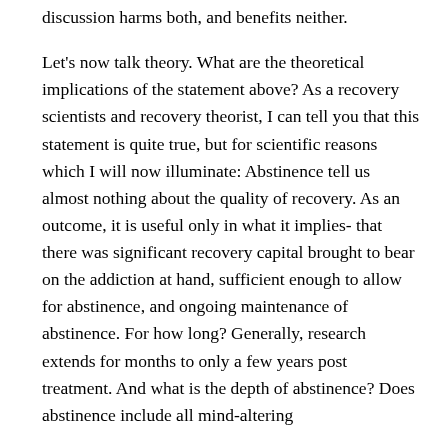discussion harms both, and benefits neither.
Let's now talk theory. What are the theoretical implications of the statement above? As a recovery scientists and recovery theorist, I can tell you that this statement is quite true, but for scientific reasons which I will now illuminate: Abstinence tell us almost nothing about the quality of recovery. As an outcome, it is useful only in what it implies- that there was significant recovery capital brought to bear on the addiction at hand, sufficient enough to allow for abstinence, and ongoing maintenance of abstinence. For how long? Generally, research extends for months to only a few years post treatment. And what is the depth of abstinence? Does abstinence include all mind-altering